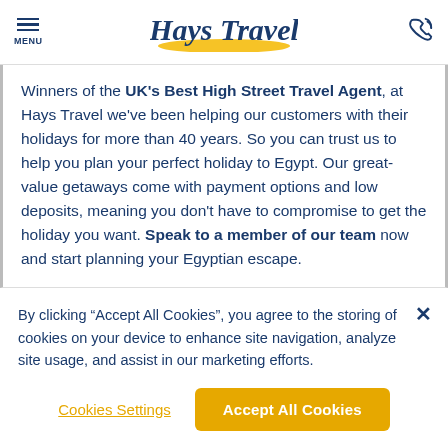MENU | Hays Travel
Winners of the UK's Best High Street Travel Agent, at Hays Travel we've been helping our customers with their holidays for more than 40 years. So you can trust us to help you plan your perfect holiday to Egypt. Our great-value getaways come with payment options and low deposits, meaning you don't have to compromise to get the holiday you want. Speak to a member of our team now and start planning your Egyptian escape.
By clicking “Accept All Cookies”, you agree to the storing of cookies on your device to enhance site navigation, analyze site usage, and assist in our marketing efforts.
Cookies Settings | Accept All Cookies